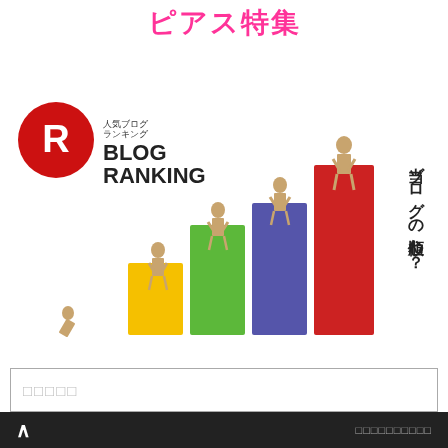ピアス特集
[Figure (illustration): Blog Ranking banner image showing wooden mannequin figures standing on colored bar chart blocks (yellow, green, purple, red) with BLOG RANKING logo and Japanese text '当ブログの順位わ？' on the right side]
□□□□□
[Figure (other): Audio play button (circular gray play icon) with a gray progress bar]
^ □□□□□□□□□□